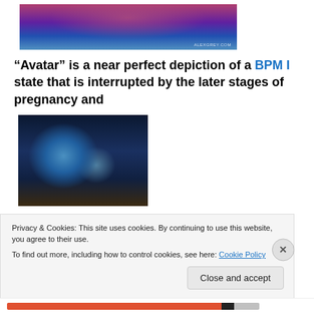[Figure (illustration): Colorful psychedelic digital artwork with pink/purple energy lines over a landscape, with watermark ALEXGREY.COM]
“Avatar” is a near perfect depiction of a BPM I state that is interrupted by the later stages of pregnancy and
[Figure (photo): Close-up photo of a blue-skinned Na'vi character from the Avatar movie, appearing to roar or shout aggressively]
Privacy & Cookies: This site uses cookies. By continuing to use this website, you agree to their use.
To find out more, including how to control cookies, see here: Cookie Policy
Close and accept